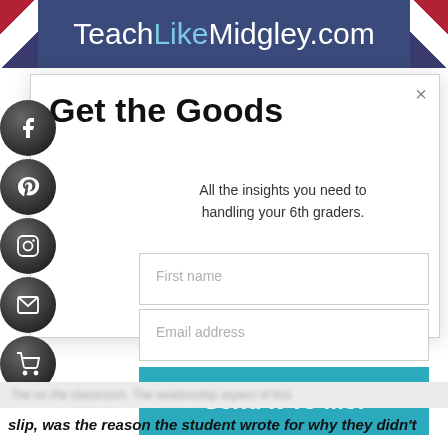[Figure (screenshot): TeachLikeMidgley.com website banner with dark blue background and decorative American flag elements on sides]
Get the Goods
All the insights you need to handling your 6th graders.
First name
Email address
Send It To Me!
slip, was the reason the student wrote for why they didn't